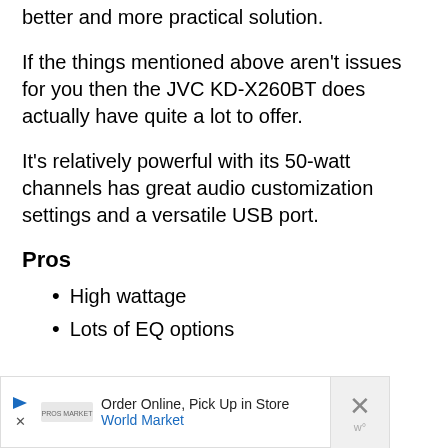Stereos with built-in speakers are a much better and more practical solution.
If the things mentioned above aren't issues for you then the JVC KD-X260BT does actually have quite a lot to offer.
It's relatively powerful with its 50-watt channels has great audio customization settings and a versatile USB port.
Pros
High wattage
Lots of EQ options
[Figure (other): Advertisement banner for World Market: Order Online, Pick Up in Store, with navigation icon and close button]